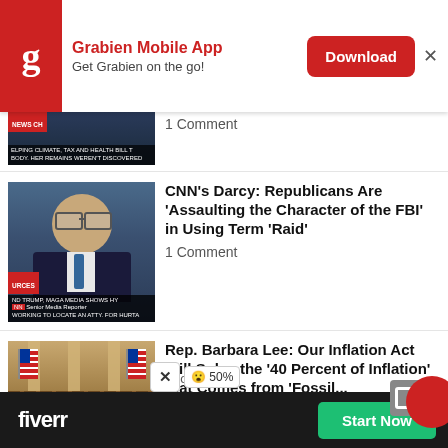[Figure (screenshot): Grabien Mobile App advertisement banner with red G logo, app title, 'Get Grabien on the go!' subtitle, and a red Download button with X close button]
[Figure (photo): Partial thumbnail of a TV news segment, partially cut off at top of visible area]
1 Comment
[Figure (photo): Thumbnail of CNN segment featuring a bald man with glasses in suit and tie, labeled 'Senior Media Reporter', with text about MAGA Media]
CNN's Darcy: Republicans Are 'Assaulting the Character of the FBI' in Using Term 'Raid'
1 Comment
[Figure (photo): Thumbnail of US Congress chamber session with flags, podium, and rows of seats, labeled 'ES INFLATION REDUCTION A']
Rep. Barbara Lee: Our Inflation Act Will Solve the '40 Percent of Inflation' that Comes from 'Fossil...
1 Comment
[Figure (screenshot): Fiverr advertisement at bottom: black background with white 'fiverr' logo and green 'Start Now' button. Overlay shows X close button and 50% indicator.]